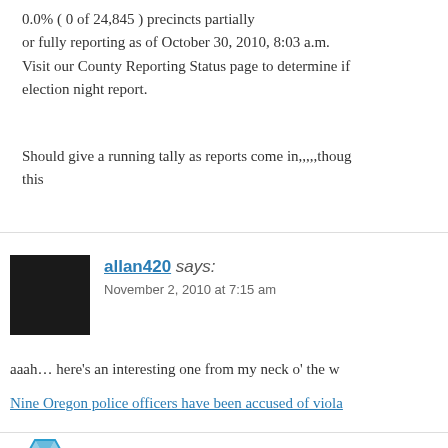0.0% ( 0 of 24,845 ) precincts partially or fully reporting as of October 30, 2010, 8:03 a.m. Visit our County Reporting Status page to determine if election night report.
Should give a running tally as reports come in,,,,,though this
allan420 says:
November 2, 2010 at 7:15 am
aaah… here's an interesting one from my neck o' the w
Nine Oregon police officers have been accused of viola
Servetus says: